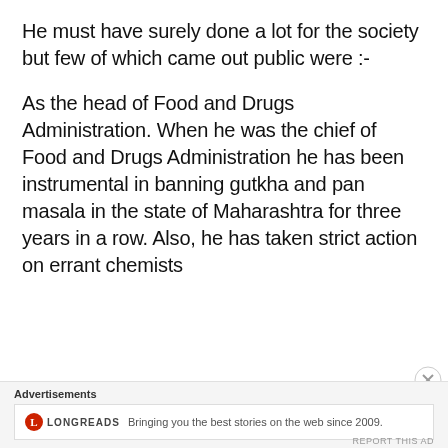He must have surely done a lot for the society but few of which came out public were :-
As the head of Food and Drugs Administration. When he was the chief of Food and Drugs Administration he has been instrumental in banning gutkha and pan masala in the state of Maharashtra for three years in a row. Also, he has taken strict action on errant chemists
Advertisements
[Figure (other): Longreads advertisement banner with red circle logo and text: Bringing you the best stories on the web since 2009.]